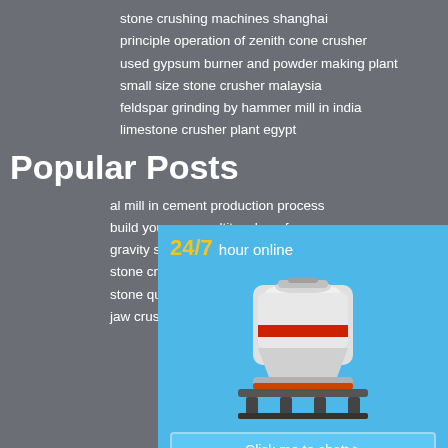stone crushing machines shanghai
principle operation of zenith cone crusher
used gypsum burner and powder making plant
small size stone crusher malaysia
feldspar grinding by hammer mill in india
limestone crusher plant egypt
Popular Posts
al mill in cement production process
build your own multitouch surface c
gravity spiral chute small scale mini
stone crusher detailed capital prise stone quarry
jaw crusher in silica sand mining pr
[Figure (infographic): Side panel with cyan/blue background showing '24/7 hour online' text in yellow and white, an image of a cone crusher machine, a 'Click me to chat>>' button, an 'Enquiry' section, and 'limingjlmofen' text, all separated by dashed dividers.]